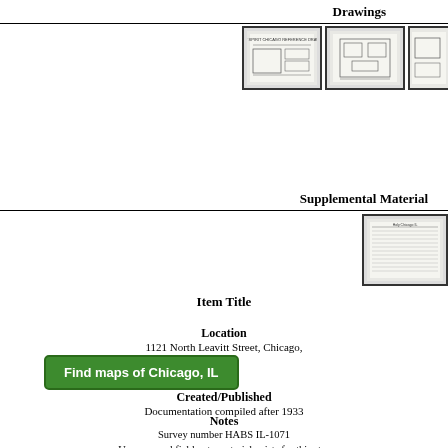Drawings
[Figure (schematic): Thumbnail image of architectural drawing 1]
[Figure (schematic): Thumbnail image of architectural drawing 2]
[Figure (schematic): Partial thumbnail image of architectural drawing 3]
Supplemental Material
[Figure (schematic): Thumbnail image of supplemental document]
Item Title
Location
1121 North Leavitt Street, Chicago,
Find maps of Chicago, IL
Created/Published
Documentation compiled after 1933
Notes
Survey number HABS IL-1071
Unprocessed field note material exists for this structure.
Building/structure dates: 1903 initial construction
Significance: The church is a late work by Louis H. Sullivan in traditi
Subjects
"Mission 66" Program
Brick Buildings
Catholic Churches
Related Names